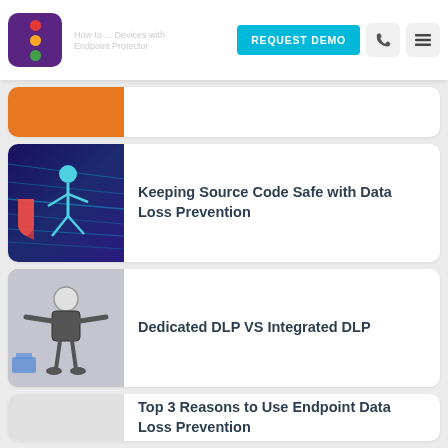[Figure (screenshot): Navigation bar with traffic light logo, REQUEST DEMO button, phone icon, and hamburger menu icon. Partial page title visible: 'How to ... Devices with Endpoint Protector']
[Figure (illustration): Card with dark blue illustration of a running figure with data lines, representing cybersecurity/hacking theme]
Keeping Source Code Safe with Data Loss Prevention
[Figure (illustration): Card with grey illustration of a robot-like figure with arms outstretched, representing DLP concepts]
Dedicated DLP VS Integrated DLP
Top 3 Reasons to Use Endpoint Data Loss Prevention